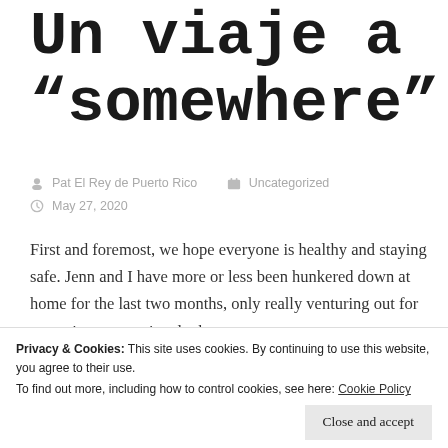Un viaje a "somewhere"
Pat El Rey de Puerto Rico   Uncategorized
May 27, 2020
First and foremost, we hope everyone is healthy and staying safe. Jenn and I have more or less been hunkered down at home for the last two months, only really venturing out for groceries or occasional takeout
Privacy & Cookies: This site uses cookies. By continuing to use this website, you agree to their use.
To find out more, including how to control cookies, see here: Cookie Policy
water. Thankfully for me and all the other surfers, the